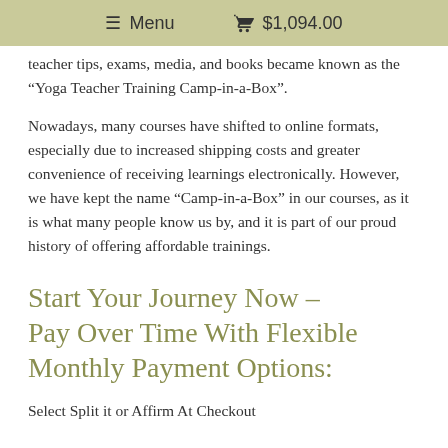Menu   $1,094.00
teacher tips, exams, media, and books became known as the “Yoga Teacher Training Camp-in-a-Box”.
Nowadays, many courses have shifted to online formats, especially due to increased shipping costs and greater convenience of receiving learnings electronically. However, we have kept the name “Camp-in-a-Box” in our courses, as it is what many people know us by, and it is part of our proud history of offering affordable trainings.
Start Your Journey Now – Pay Over Time With Flexible Monthly Payment Options:
Select Split it or Affirm At Checkout